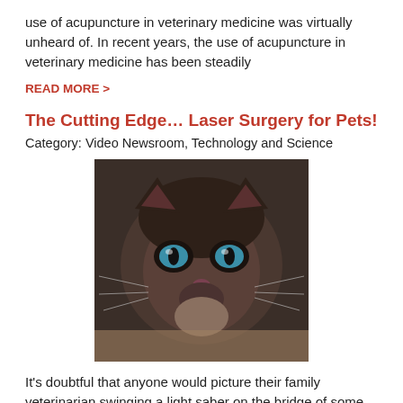use of acupuncture in veterinary medicine was virtually unheard of. In recent years, the use of acupuncture in veterinary medicine has been steadily
READ MORE >
The Cutting Edge… Laser Surgery for Pets!
Category: Video Newsroom, Technology and Science
[Figure (photo): Close-up photo of a dark-colored cat with blue eyes looking at the camera]
It's doubtful that anyone would picture their family veterinarian swinging a light saber on the bridge of some galactic cruiser, but he or she may just have a similar technology available to help keep your pets comfortable during sur… o years,